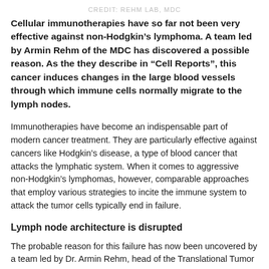CREDIT: REHM LAB, MDC
Cellular immunotherapies have so far not been very effective against non-Hodgkin’s lymphoma. A team led by Armin Rehm of the MDC has discovered a possible reason. As the they describe in “Cell Reports”, this cancer induces changes in the large blood vessels through which immune cells normally migrate to the lymph nodes.
Immunotherapies have become an indispensable part of modern cancer treatment. They are particularly effective against cancers like Hodgkin’s disease, a type of blood cancer that attacks the lymphatic system. When it comes to aggressive non-Hodgkin’s lymphomas, however, comparable approaches that employ various strategies to incite the immune system to attack the tumor cells typically end in failure.
Lymph node architecture is disrupted
The probable reason for this failure has now been uncovered by a team led by Dr. Armin Rehm, head of the Translational Tumor